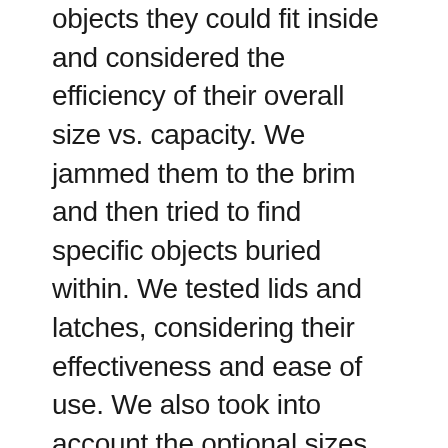objects they could fit inside and considered the efficiency of their overall size vs. capacity. We jammed them to the brim and then tried to find specific objects buried within. We tested lids and latches, considering their effectiveness and ease of use. We also took into account the optional sizes and colors in which each bin can be purchased.
Versatility
To test each model’s versatility, we stacked them (if we could) in as many places as possible to see where they work best. We put them on garage shelves and closet tops, sliding them under beds and into cuboid living room shelves. And though the